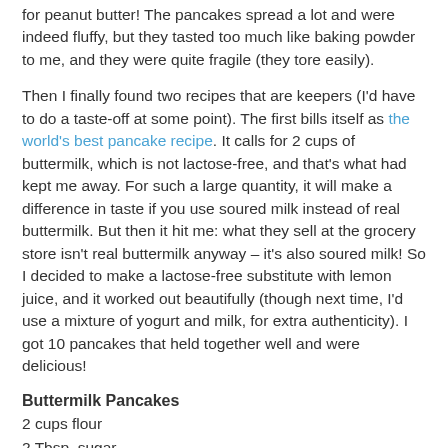for peanut butter! The pancakes spread a lot and were indeed fluffy, but they tasted too much like baking powder to me, and they were quite fragile (they tore easily).
Then I finally found two recipes that are keepers (I'd have to do a taste-off at some point). The first bills itself as the world's best pancake recipe. It calls for 2 cups of buttermilk, which is not lactose-free, and that's what had kept me away. For such a large quantity, it will make a difference in taste if you use soured milk instead of real buttermilk. But then it hit me: what they sell at the grocery store isn't real buttermilk anyway – it's also soured milk! So I decided to make a lactose-free substitute with lemon juice, and it worked out beautifully (though next time, I'd use a mixture of yogurt and milk, for extra authenticity). I got 10 pancakes that held together well and were delicious!
Buttermilk Pancakes
2 cups flour
2 Tbsp. sugar
4 tsp. baking powder
1 tsp. baking soda